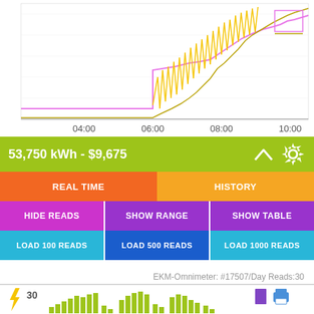[Figure (line-chart): Time-series line chart showing energy data with pink/magenta and yellow/gold lines rising from left to right, with x-axis labels 04:00, 06:00, 08:00, 10:00]
53,750 kWh - $9,675
REAL TIME
HISTORY
HIDE READS
SHOW RANGE
SHOW TABLE
LOAD 100 READS
LOAD 500 READS
LOAD 1000 READS
EKM-Omnimeter: #17507/Day Reads:30
[Figure (bar-chart): Bar chart with green/olive bars and a lightning bolt icon, showing value 30, with bookmark and printer icons in top right]